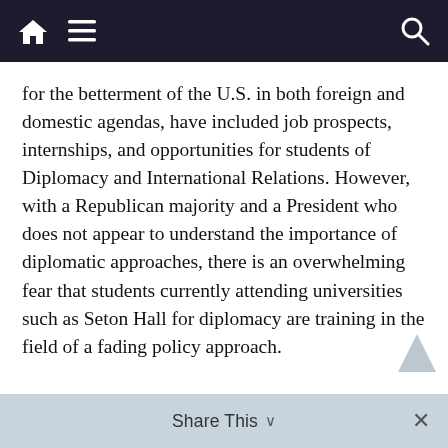Navigation bar with home, menu, and search icons
for the betterment of the U.S. in both foreign and domestic agendas, have included job prospects, internships, and opportunities for students of Diplomacy and International Relations. However, with a Republican majority and a President who does not appear to understand the importance of diplomatic approaches, there is an overwhelming fear that students currently attending universities such as Seton Hall for diplomacy are training in the field of a fading policy approach.
Even more terrifying, the minimization of key agencies such as the Environmental Protection Agency (as well as the March 28 announcement of dismantling environmental protections) and the National Institutes of Health depicts a shift away
Share This